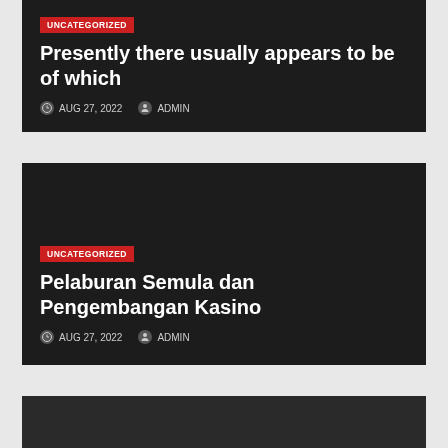Presently there usually appears to be of which
AUG 27, 2022  ADMIN
Pelaburan Semula dan Pengembangan Kasino
AUG 27, 2022  ADMIN